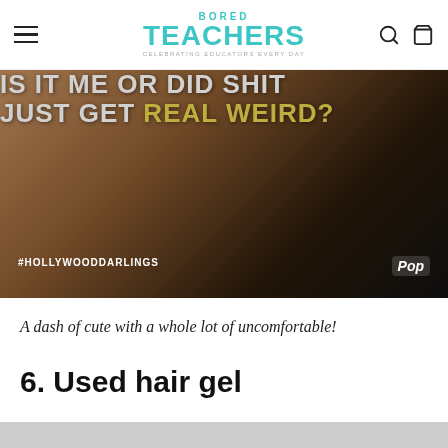BORED TEACHERS — Celebrating Educators Every Day
[Figure (photo): A TV show promotional image with text overlay reading 'IS IT ME OR DID SHIT JUST GET REAL WEIRD?' with hashtag #HOLLYWOODDARLINGS and Pop network logo]
A dash of cute with a whole lot of uncomfortable!
6. Used hair gel